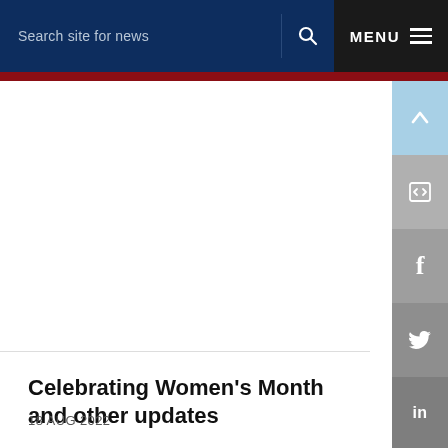Search site for news  🔍  MENU ≡
Celebrating Women's Month and other updates
18 AUG 2022